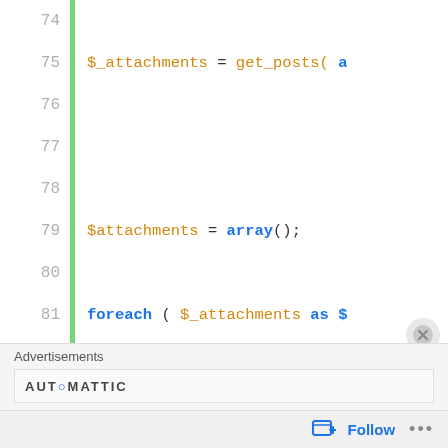[Figure (screenshot): Code editor screenshot showing PHP code lines 74-94 with syntax highlighting. Line numbers in grey on the left, green vertical bar separator. Code includes $_attachments = get_posts(a, $attachments = array();, foreach ( $_attachments as $, $attachments[$val->ID] =, closing brace, } elseif ( !empty($exclude) ) {, $exclude = preg_replace( '/[, $attachments = get_children(, } else {]
Advertisements  AUTOMATTIC  Follow ...